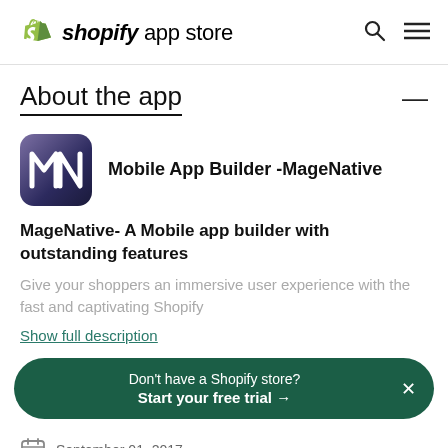shopify app store
About the app
[Figure (logo): MageNative app icon: dark purple/navy gradient background with stylized M and N letters in white]
Mobile App Builder -MageNative
MageNative- A Mobile app builder with outstanding features
Give your shoppers an immersive user experience with the fast and captivating Shopify
Show full description
Don't have a Shopify store?
Start your free trial →
September 01, 2017